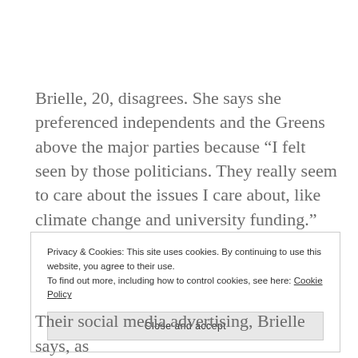Brielle, 20, disagrees. She says she preferenced independents and the Greens above the major parties because “I felt seen by those politicians. They really seem to care about the issues I care about, like climate change and university funding.”
Privacy & Cookies: This site uses cookies. By continuing to use this website, you agree to their use.
To find out more, including how to control cookies, see here: Cookie Policy
[Close and accept]
Their social media advertising, Brielle says, as